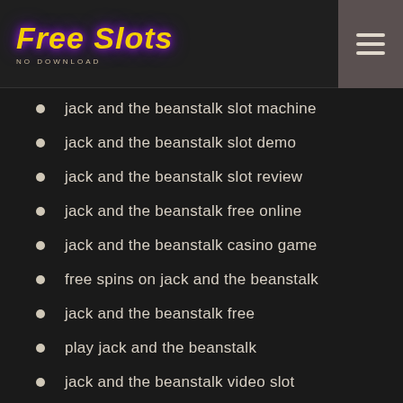Free Slots NO DOWNLOAD
jack and the beanstalk slot machine
jack and the beanstalk slot demo
jack and the beanstalk slot review
jack and the beanstalk free online
jack and the beanstalk casino game
free spins on jack and the beanstalk
jack and the beanstalk free
play jack and the beanstalk
jack and the beanstalk video slot